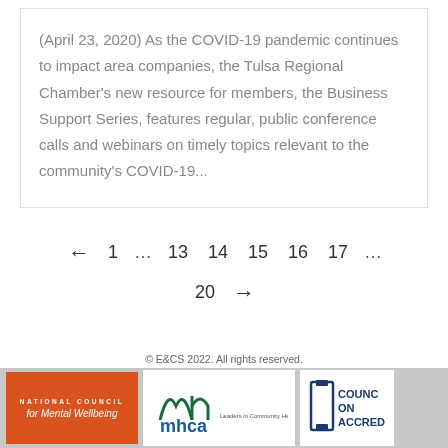(April 23, 2020) As the COVID-19 pandemic continues to impact area companies, the Tulsa Regional Chamber's new resource for members, the Business Support Series, features regular, public conference calls and webinars on timely topics relevant to the community's COVID-19...
← 1 … 13 14 15 16 17 … 20 →
© E&CS 2022. All rights reserved. | National Council for Mental Wellbeing | mhca Leaders in Community Health Solutions | Council on Accreditation